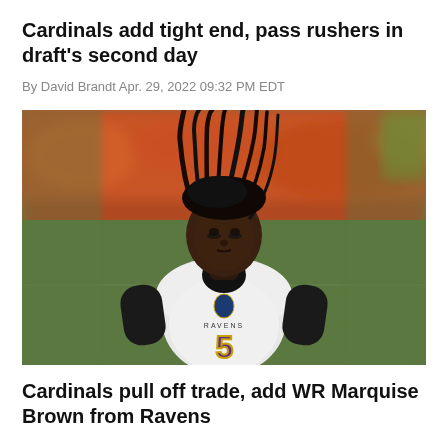Cardinals add tight end, pass rushers in draft's second day
By David Brandt Apr. 29, 2022 09:32 PM EDT
[Figure (photo): Football player in Baltimore Ravens white jersey number 5, with dreadlocks, standing on field with blurred orange crowd in background]
Cardinals pull off trade, add WR Marquise Brown from Ravens